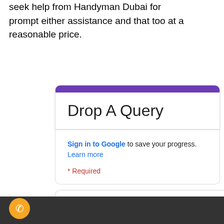seek help from Handyman Dubai for prompt either assistance and that too at a reasonable price.
Drop A Query
Sign in to Google to save your progress. Learn more
* Required
Name *